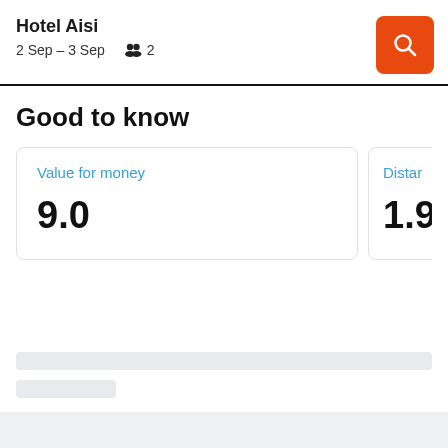Hotel Aisi
2 Sep – 3 Sep   2
Good to know
Value for money
9.0
Distance
1.9 k